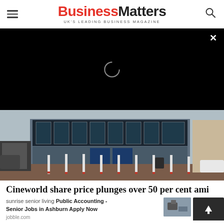BusinessMatters UK'S LEADING BUSINESS MAGAZINE
[Figure (screenshot): Black ad overlay panel with loading spinner and close (×) button]
[Figure (photo): Exterior photo of a Cineworld cinema building with bollards in the car park]
Cineworld share price plunges over 50 per cent ami
sunrise senior living Public Accounting - Senior Jobs in Ashburn Apply Now jobble.com
[Figure (photo): Small thumbnail image of a person at a desk]